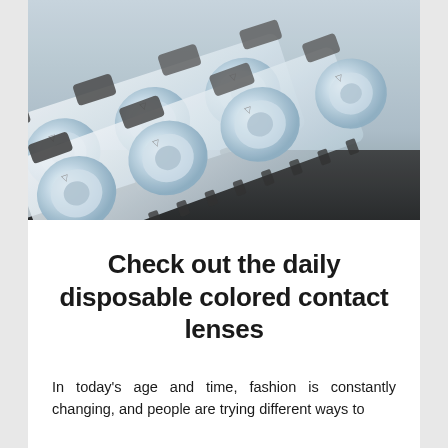[Figure (photo): Close-up photograph of multiple daily disposable contact lens blister packs arranged overlapping each other, on a dark reflective surface with light grey background. The transparent plastic blister pods containing contact lenses are visible.]
Check out the daily disposable colored contact lenses
In today's age and time, fashion is constantly changing, and people are trying different ways to